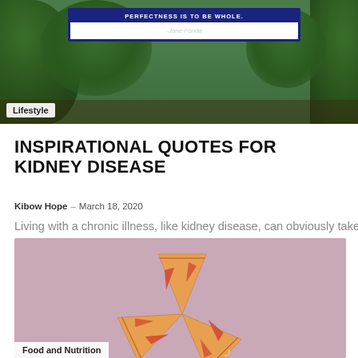[Figure (photo): Background image of trees with a white quote box overlay showing a Jane Fonda inspirational quote, with 'Lifestyle' label in bottom-left corner]
INSPIRATIONAL QUOTES FOR KIDNEY DISEASE
Kibow Hope – March 18, 2020
Living with a chronic illness, like kidney disease, can obviously take a toll on physical health, but…
[Figure (photo): Pink background with pizza slices arranged in a pinwheel pattern, with 'Food and Nutrition' label in bottom-left corner]